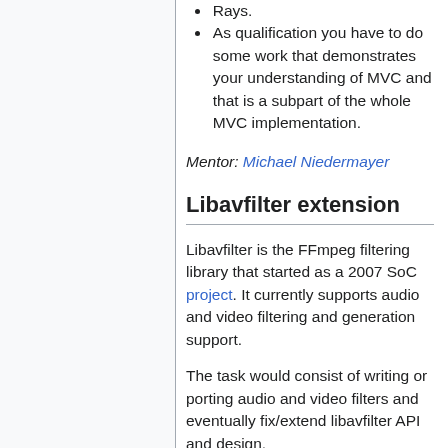Rays.
As qualification you have to do some work that demonstrates your understanding of MVC and that is a subpart of the whole MVC implementation.
Mentor: Michael Niedermayer
Libavfilter extension
Libavfilter is the FFmpeg filtering library that started as a 2007 SoC project. It currently supports audio and video filtering and generation support.
The task would consist of writing or porting audio and video filters and eventually fix/extend libavfilter API and design.
In particular the work may focus on porting MPlayer filters which are